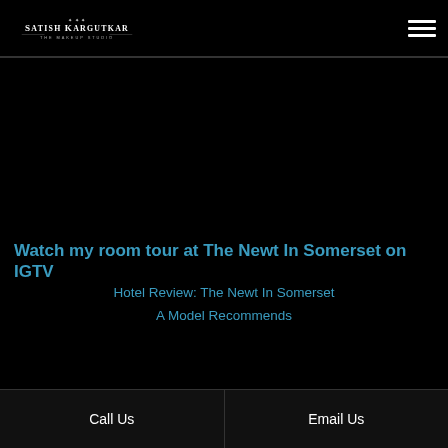Satish Kargutkar The Makeup Studio
Watch my room tour at The Newt In Somerset on IGTV
Hotel Review: The Newt In Somerset
A Model Recommends
Call Us   Email Us